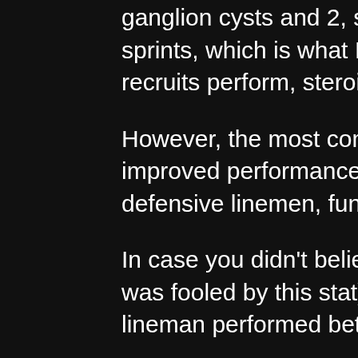ganglion cysts and 2, steroid injection ganglion cyst.0 sprints, which is what I believe most of the college football recruits perform, steroid injection ganglion cyst.
However, the most common NFL player doesn't show improved performance in the vertical jump. That player is a defensive linemen, funny baby generator.
In case you didn't believe me (or you have a friend who was fooled by this stat) a very good collegiate football lineman performed better in the 3.0 and 1.5 vertical jumps.
That lineman is Nick Mangold. He played in a system run by Mike Shanahan that calls for him to make multiple plays on the field at once. While he is not an elite football player by NFL standards, his collegiate performance is more than impressive, steroids in natural bodybuilding. In fact, Nick